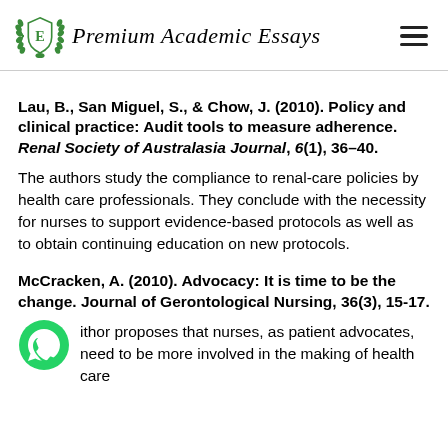Premium Academic Essays
Lau, B., San Miguel, S., & Chow, J. (2010). Policy and clinical practice: Audit tools to measure adherence. Renal Society of Australasia Journal, 6(1), 36–40.
The authors study the compliance to renal-care policies by health care professionals. They conclude with the necessity for nurses to support evidence-based protocols as well as to obtain continuing education on new protocols.
McCracken, A. (2010). Advocacy: It is time to be the change. Journal of Gerontological Nursing, 36(3), 15-17.
The author proposes that nurses, as patient advocates, need to be more involved in the making of health care